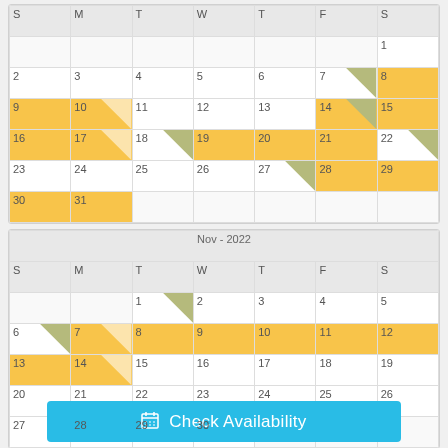| S | M | T | W | T | F | S |
| --- | --- | --- | --- | --- | --- | --- |
|  |  |  |  |  |  | 1 |
| 2 | 3 | 4 | 5 | 6 | 7 | 8 |
| 9 | 10 | 11 | 12 | 13 | 14 | 15 |
| 16 | 17 | 18 | 19 | 20 | 21 | 22 |
| 23 | 24 | 25 | 26 | 27 | 28 | 29 |
| 30 | 31 |  |  |  |  |  |
| S | M | T | W | T | F | S |
| --- | --- | --- | --- | --- | --- | --- |
|  |  | 1 | 2 | 3 | 4 | 5 |
| 6 | 7 | 8 | 9 | 10 | 11 | 12 |
| 13 | 14 | 15 | 16 | 17 | 18 | 19 |
| 20 | 21 | 22 | 23 | 24 | 25 | 26 |
| 27 | 28 | 29 | 30 |  |  |  |
Check Availability